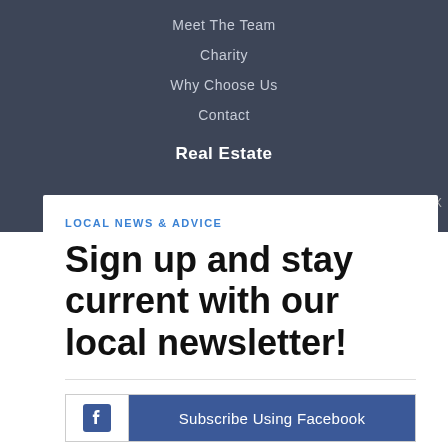Meet The Team
Charity
Why Choose Us
Contact
Real Estate
LOCAL NEWS & ADVICE
Sign up and stay current with our local newsletter!
Subscribe Using Facebook